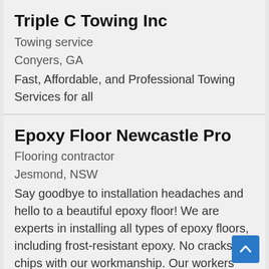Triple C Towing Inc
Towing service
Conyers, GA
Fast, Affordable, and Professional Towing Services for all
Epoxy Floor Newcastle Pro
Flooring contractor
Jesmond, NSW
Say goodbye to installation headaches and hello to a beautiful epoxy floor! We are experts in installing all types of epoxy floors, including frost-resistant epoxy. No cracks or chips with our workmanship. Our workers are able to cover uneven surfaces